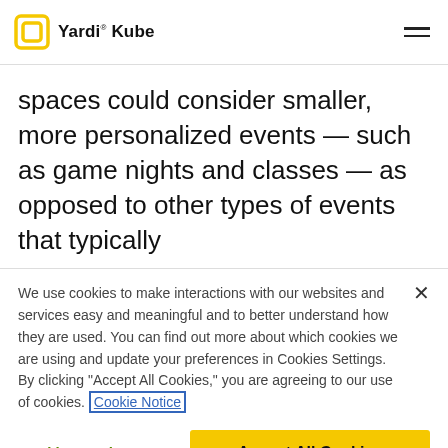Yardi Kube
spaces could consider smaller, more personalized events — such as game nights and classes — as opposed to other types of events that typically
We use cookies to make interactions with our websites and services easy and meaningful and to better understand how they are used. You can find out more about which cookies we are using and update your preferences in Cookies Settings. By clicking "Accept All Cookies," you are agreeing to our use of cookies. Cookie Notice
Cookies Settings
Accept All Cookies